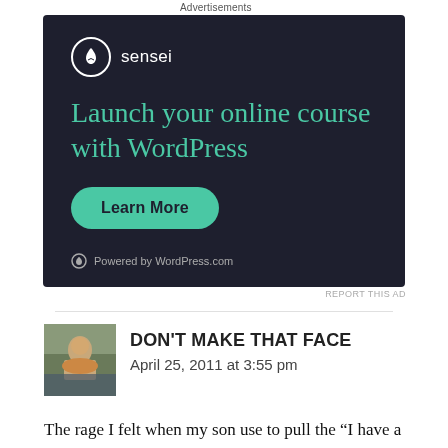Advertisements
[Figure (screenshot): Sensei advertisement on dark background: 'Launch your online course with WordPress' with a Learn More button and 'Powered by WordPress.com' footer]
REPORT THIS AD
DON'T MAKE THAT FACE
April 25, 2011 at 3:55 pm
The rage I felt when my son use to pull the “I have a project due in 12 hours” b.s. just overwhelemed me so much that I am fully expecting my phone to ring